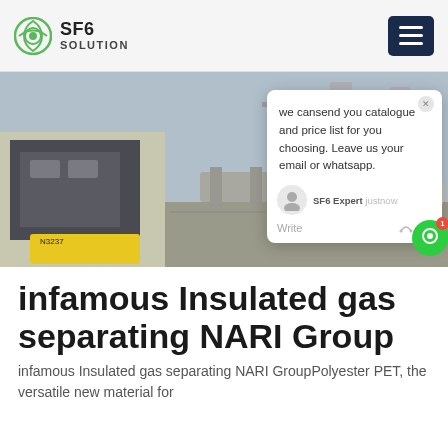SF6 SOLUTION
[Figure (photo): Industrial outdoor scene showing a truck (license plate N3237) at a substation with large electrical equipment towers and infrastructure in the background. A chat popup overlay is visible on the right side of the image.]
infamous Insulated gas separating NARI Group
infamous Insulated gas separating NARI GroupPolyester PET, the versatile new material for